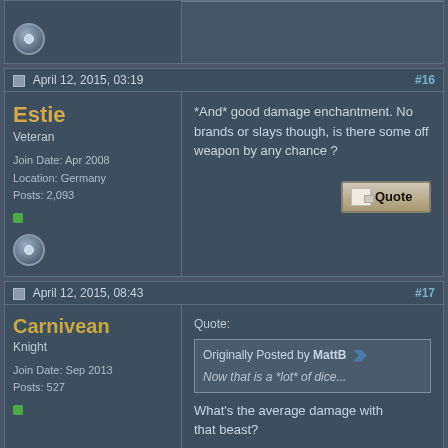[Figure (screenshot): Top partial forum post, cropped - shows user avatar/icon area on left and empty content area on right]
April 12, 2015, 03:19
#16
Estie
Veteran
Join Date: Apr 2008
Location: Germany
Posts: 2,093
*And* good damage enchantment. No brands or slays though, is there some off weapon by any chance ?
April 12, 2015, 08:43
#17
Carnivean
Knight
Join Date: Sep 2013
Posts: 527
Quote:
Originally Posted by MattB
Now that is a *lot* of dice...
What's the average damage with that beast?